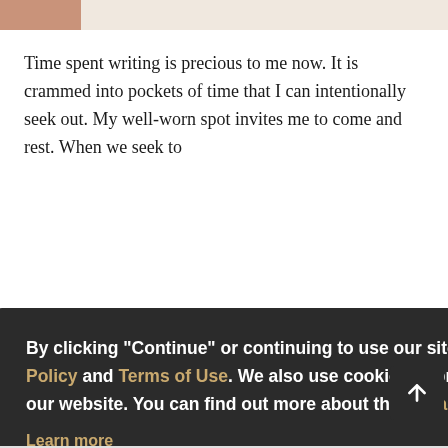[Figure (photo): Partial image at top of page showing skin tones and beige/tan background]
Time spent writing is precious to me now. It is crammed into pockets of time that I can intentionally seek out. My well-worn spot invites me to come and rest. When we seek to
By clicking "Continue" or continuing to use our site, you acknowledge that you accept our Privacy Policy and Terms of Use. We also use cookies to provide you with the best possible experience on our website. You can find out more about the Privacy Policy and Cookie Policy we use here:
Learn more
CONTINUE